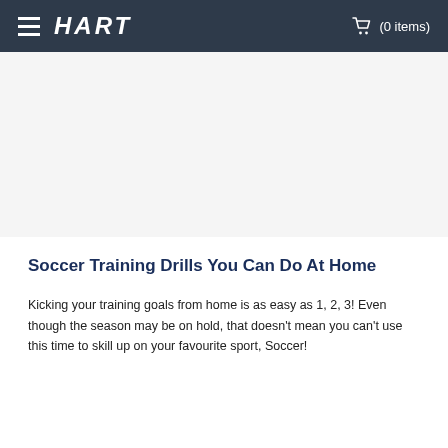HART  (0 items)
[Figure (photo): Large banner image area, appears blank/white in this view]
Soccer Training Drills You Can Do At Home
Kicking your training goals from home is as easy as 1, 2, 3! Even though the season may be on hold, that doesn't mean you can't use this time to skill up on your favourite sport, Soccer!